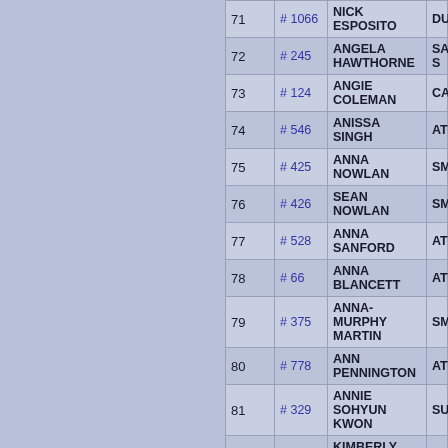| # | Bib | Name | City |
| --- | --- | --- | --- |
| 71 | # 1066 | NICK ESPOSITO | DUNWO |
| 72 | # 245 | ANGELA HAWTHORNE | SANDY S |
| 73 | # 124 | ANGIE COLEMAN | CATAUL |
| 74 | # 546 | ANISSA SINGH | ATLANTA |
| 75 | # 425 | ANNA NOWLAN | SMYRNA |
| 76 | # 426 | SEAN NOWLAN | SMYRNA |
| 77 | # 528 | ANNA SANFORD | ATLANTA |
| 78 | # 66 | ANNA BLANCETT | ATLANTA |
| 79 | # 375 | ANNA-MURPHY MARTIN | SMYRNA |
| 80 | # 778 | ANN PENNINGTON | ATLANTA |
| 81 | # 329 | ANNIE SOHYUN KWON | SUWANI |
| 82 | # 739 | KIMBERLY TURNBULL | COLUMB |
| 83 | # 441 | AARYA PANNU | ROSWE |
| 84 | # 442 | ARI PANNU | ROSWE |
| 85 | # 609 | APRIL VELEZ | ALPHAR |
| 86 | # 457 | AMANDA PEELER | DECATU |
| 87 | # 273 | APRIL IRBY | AUSTEL |
| 88 | # | ARACELI CERRA | GAINES |